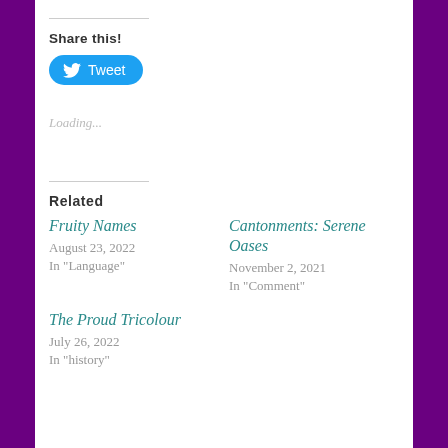Share this!
Tweet
Loading...
Related
Fruity Names
August 23, 2022
In "Language"
Cantonments: Serene Oases
November 2, 2021
In "Comment"
The Proud Tricolour
July 26, 2022
In "history"